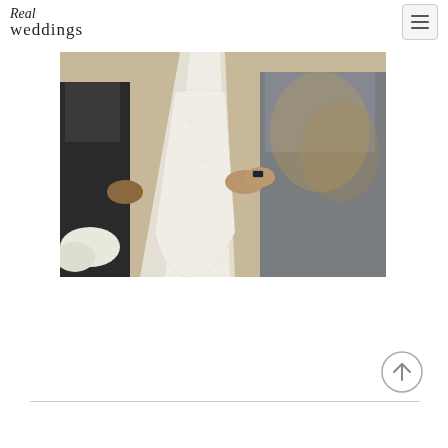Real Weddings
[Figure (photo): Wedding ceremony photo showing a bride in a white lace mermaid gown with long veil, flanked by two men in suits (one in black, one in grey), in a warmly lit interior setting.]
[Figure (other): Scroll-to-top circular button with an upward arrow icon]